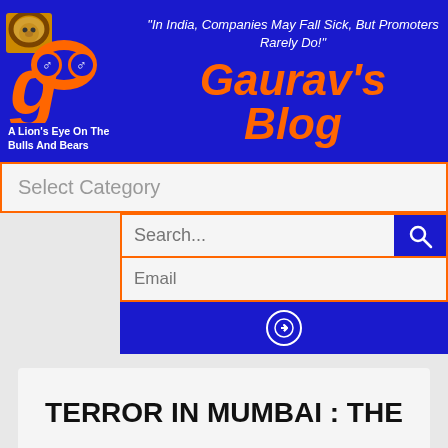[Figure (logo): Gaurav's Blog logo with lion image, orange infinity/bull and bear icons on blue background]
A Lion's Eye On The Bulls And Bears
"In India, Companies May Fall Sick, But Promoters Rarely Do!"
Gaurav's Blog
Select Category
Search...
Email
TERROR IN MUMBAI : THE